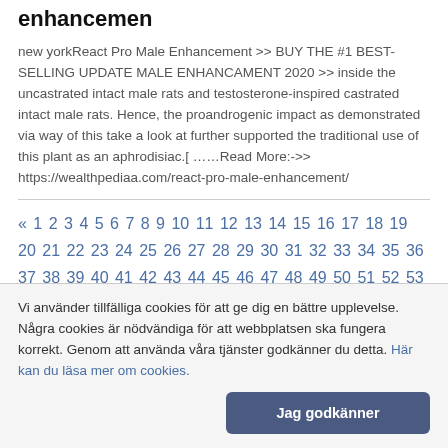enhancemen
new yorkReact Pro Male Enhancement >> BUY THE #1 BEST-SELLING UPDATE MALE ENHANCAMENT 2020 >> inside the uncastrated intact male rats and testosterone-inspired castrated intact male rats. Hence, the proandrogenic impact as demonstrated via way of this take a look at further supported the traditional use of this plant as an aphrodisiac.[ ……Read More:->> https://wealthpediaa.com/react-pro-male-enhancement/
« 1 2 3 4 5 6 7 8 9 10 11 12 13 14 15 16 17 18 19 20 21 22 23 24 25 26 27 28 29 30 31 32 33 34 35 36 37 38 39 40 41 42 43 44 45 46 47 48 49 50 51 52 53 54 55 56 57 58 59 60 61 62 63 64 65 66 67 68 69 70 71 72 73 74 75 76 77 78 79 80 81 82 83 84 85 86 87 88 89 90 91 92 93 94 95 96 97 98 99 100 101 102 103 104 105 106 107 108 109 110 111 112 113 114 115 116 117 118 119 120
Vi använder tillfälliga cookies för att ge dig en bättre upplevelse. Några cookies är nödvändiga för att webbplatsen ska fungera korrekt. Genom att använda våra tjänster godkänner du detta. Här kan du läsa mer om cookies.